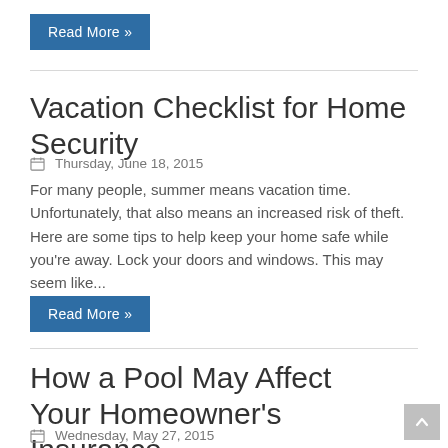Read More »
Vacation Checklist for Home Security
Thursday, June 18, 2015
For many people, summer means vacation time. Unfortunately, that also means an increased risk of theft. Here are some tips to help keep your home safe while you're away. Lock your doors and windows. This may seem like...
Read More »
How a Pool May Affect Your Homeowner's Insurance
Wednesday, May 27, 2015